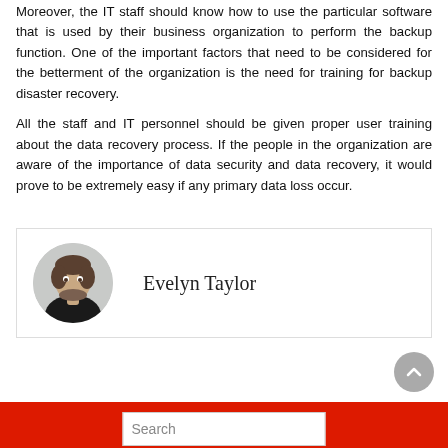Moreover, the IT staff should know how to use the particular software that is used by their business organization to perform the backup function. One of the important factors that need to be considered for the betterment of the organization is the need for training for backup disaster recovery.
All the staff and IT personnel should be given proper user training about the data recovery process. If the people in the organization are aware of the importance of data security and data recovery, it would prove to be extremely easy if any primary data loss occur.
[Figure (photo): Author box with circular headshot photo of a man in a dark jacket, next to the name 'Evelyn Taylor']